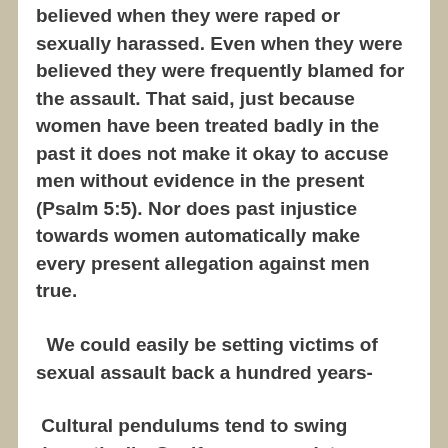believed when they were raped or sexually harassed. Even when they were believed they were frequently blamed for the assault. That said, just because women have been treated badly in the past it does not make it okay to accuse men without evidence in the present (Psalm 5:5). Nor does past injustice towards women automatically make every present allegation against men true.
We could easily be setting victims of sexual assault back a hundred years-
Cultural pendulums tend to swing dramatically. So, if we as a society choose to simply believe (and act on) every accusation of sexual assault (no matter how flimsy the evidence). Sooner or later the pendulum is bound to swing back to a place where no one is believed. That will be a sad day for